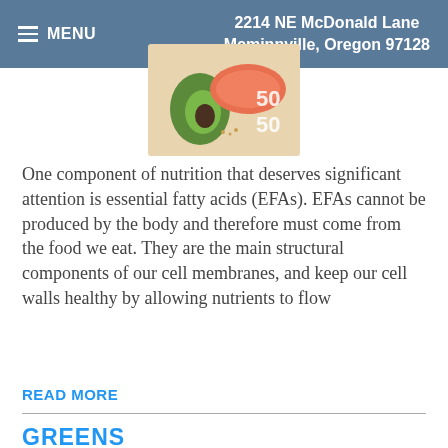≡ MENU   2214 NE McDonald Lane Mcminnville, Oregon 97128
[Figure (photo): Photo of salmon, avocado and other foods with numbers 50 and 50 overlaid]
One component of nutrition that deserves significant attention is essential fatty acids (EFAs). EFAs cannot be produced by the body and therefore must come from the food we eat. They are the main structural components of our cell membranes, and keep our cell walls healthy by allowing nutrients to flow
READ MORE
GREENS
[Figure (photo): Photo of various green vegetables and fruits including broccoli, cucumber, lime, apple, and leafy greens]